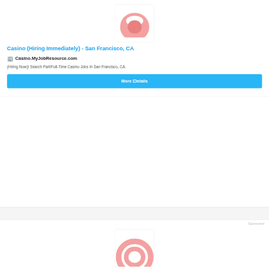[Figure (logo): Company logo placeholder — pink/salmon colored arch/shield icon on white square background]
Casino (Hiring Immediately) - San Francisco, CA
🏢  Casino.MyJobResource.com
(Hiring Now)! Search Part/Full-Time Casino Jobs In San Francisco, CA.
More Details
Sponsored
[Figure (logo): Company logo placeholder — pink/salmon colored arch icon on white square background (partially visible)]